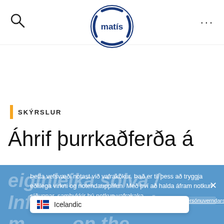[Figure (logo): Matís logo — circular badge with blue arc segments and 'matís' text in blue sans-serif]
SKÝRSLUR
Áhrif þurrkaðferða á
Þetta vefsvæði notast við vafrakökur. Það er til þess að tryggja eðlilega virkni og notendaupplifun. Með því að halda áfram notkun síðunnar, samþykkir þú notkun vafrakaka.
Persónuverndarstefna Matís
Icelandic